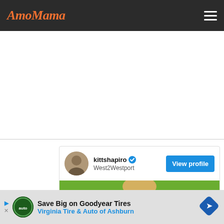AmoMama
[Figure (screenshot): White empty content area between nav bar and social card divider]
[Figure (screenshot): Instagram-style social card for kittshapiro (West2Westport) with verified badge, View profile button, and photo of a blonde woman with glasses outdoors]
[Figure (infographic): Advertisement bar: Save Big on Goodyear Tires - Virginia Tire & Auto of Ashburn with AutoTire logo and navigation icon]